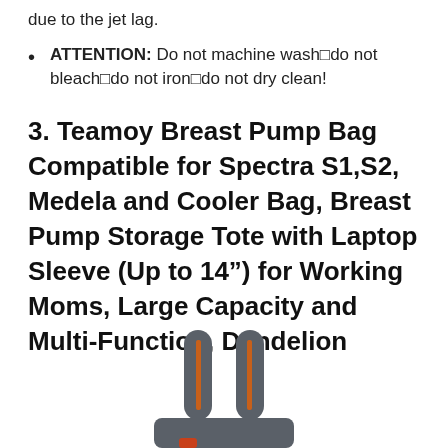due to the jet lag.
ATTENTION: Do not machine wash□do not bleach□do not iron□do not dry clean!
3. Teamoy Breast Pump Bag Compatible for Spectra S1,S2, Medela and Cooler Bag, Breast Pump Storage Tote with Laptop Sleeve (Up to 14”) for Working Moms, Large Capacity and Multi-Function, Dandelion
[Figure (photo): Partial product image of a breast pump bag (Dandelion style) showing top handles in gray and orange against a white background]